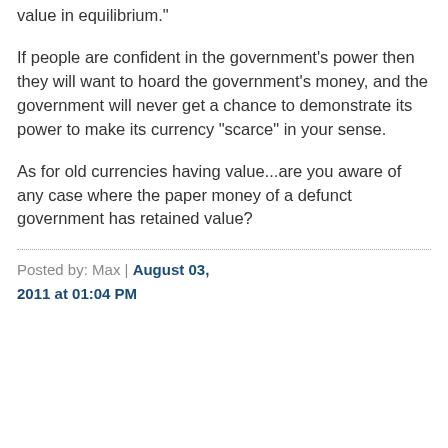value in equilibrium."
If people are confident in the government's power then they will want to hoard the government's money, and the government will never get a chance to demonstrate its power to make its currency "scarce" in your sense.
As for old currencies having value...are you aware of any case where the paper money of a defunct government has retained value?
Posted by: Max | August 03, 2011 at 01:04 PM